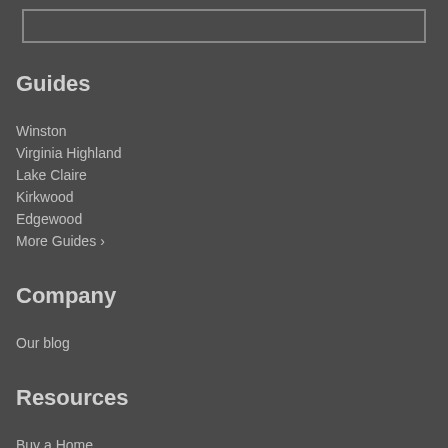Guides
Winston
Virginia Highland
Lake Claire
Kirkwood
Edgewood
More Guides >
Company
Our blog
Resources
Buy a Home
Sell Your Home
Finance